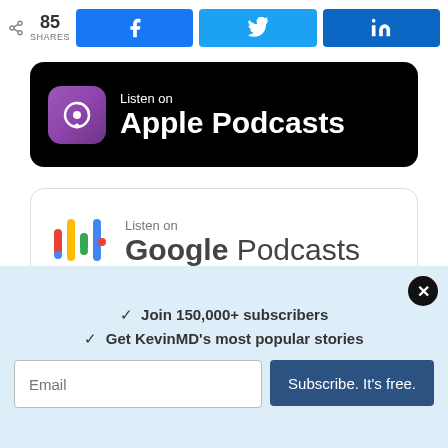85 SHARES
[Figure (screenshot): Social share buttons: Facebook, Twitter, LinkedIn]
[Figure (logo): Listen on Apple Podcasts banner]
[Figure (logo): Listen on Google Podcasts banner]
[Figure (logo): Listen on Spotify banner (partially visible)]
✓ Join 150,000+ subscribers
✓ Get KevinMD's most popular stories
Email
Subscribe. It's free.